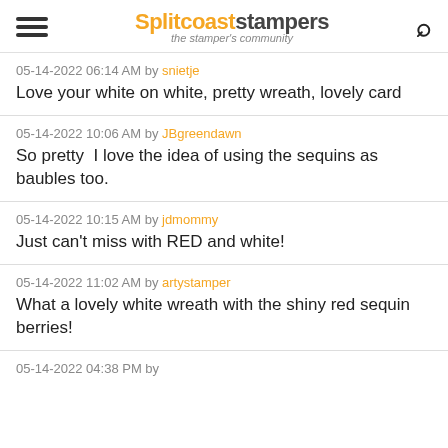Splitcoaststampers – the stamper's community
05-14-2022 06:14 AM by snietje
Love your white on white, pretty wreath, lovely card
05-14-2022 10:06 AM by JBgreendawn
So pretty  I love the idea of using the sequins as baubles too.
05-14-2022 10:15 AM by jdmommy
Just can't miss with RED and white!
05-14-2022 11:02 AM by artystamper
What a lovely white wreath with the shiny red sequin berries!
05-14-2022 04:38 PM by ...